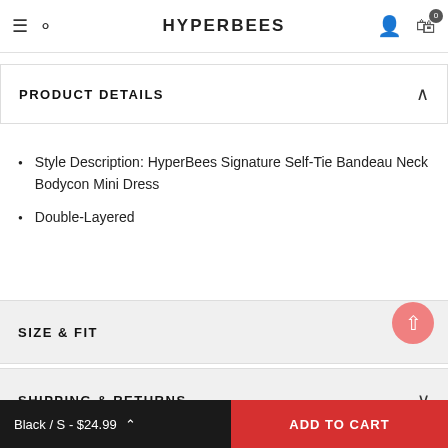HYPERBEES
I agree with the terms and conditions
PRODUCT DETAILS
Style Description: HyperBees Signature Self-Tie Bandeau Neck Bodycon Mini Dress
Double-Layered
SIZE & FIT
SHIPPING & RETURNS
Black / S - $24.99
ADD TO CART